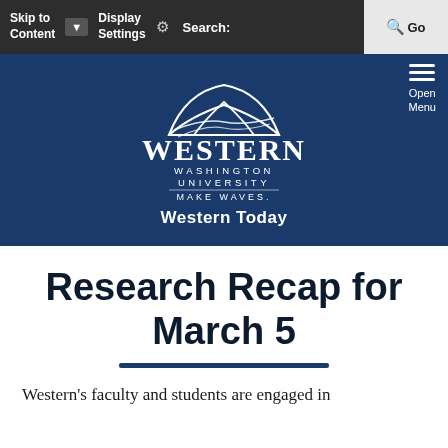Skip to Content | Display Settings | Search: | Go
[Figure (logo): Western Washington University logo with mountain/wave graphic and tagline MAKE WAVES.]
Western Today
Research Recap for March 5
Western's faculty and students are engaged in